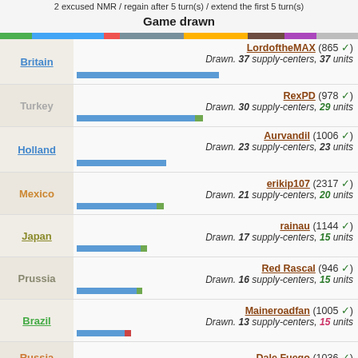2 excused NMR / regain after 5 turn(s) / extend the first 5 turn(s)
Game drawn
| Country | Player | Result |
| --- | --- | --- |
| Britain | LordoftheMAX (865 ✓) | Drawn. 37 supply-centers, 37 units |
| Turkey | RexPD (978 ✓) | Drawn. 30 supply-centers, 29 units |
| Holland | Aurvandil (1006 ✓) | Drawn. 23 supply-centers, 23 units |
| Mexico | erikip107 (2317 ✓) | Drawn. 21 supply-centers, 20 units |
| Japan | rainau (1144 ✓) | Drawn. 17 supply-centers, 15 units |
| Prussia | Red Rascal (946 ✓) | Drawn. 16 supply-centers, 15 units |
| Brazil | Maineroadfan (1005 ✓) | Drawn. 13 supply-centers, 15 units |
| Russia | Dale Fuego (1036 ✓) |  |